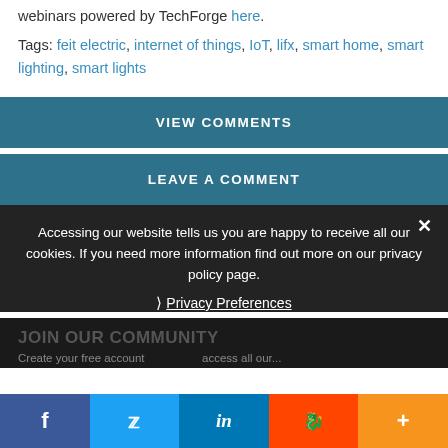webinars powered by TechForge here.
Tags: feit electric, internet of things, IoT, lifx, smart home, smart lighting, smart lights
VIEW COMMENTS
LEAVE A COMMENT
Accessing our website tells us you are happy to receive all our cookies. If you need more information find out more on our privacy policy page.
Privacy Preferences
JOIN OUR COMMUNITY
Create your free account to access all our...